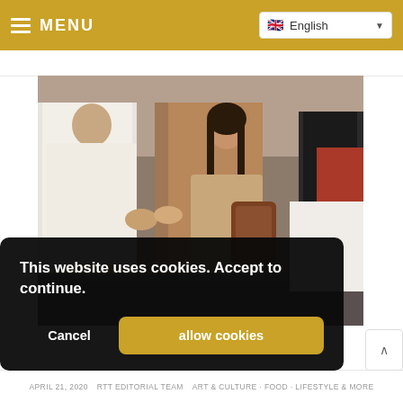MENU | English
[Figure (photo): A market scene showing a vendor in white traditional dress handing something to a woman with long dark hair carrying a patterned bag, surrounded by large bins and baskets of spices, nuts, and other goods at a busy bazaar.]
This website uses cookies. Accept to continue.
Cancel | allow cookies
APRIL 21, 2020   RTT EDITORIAL TEAM   ART & CULTURE   FOOD   LIFESTYLE & MORE